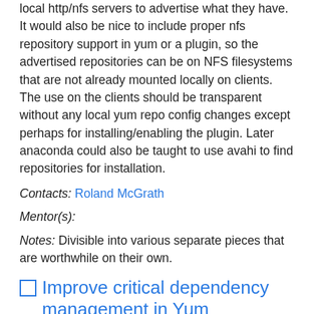local http/nfs servers to advertise what they have. It would also be nice to include proper nfs repository support in yum or a plugin, so the advertised repositories can be on NFS filesystems that are not already mounted locally on clients. The use on the clients should be transparent without any local yum repo config changes except perhaps for installing/enabling the plugin. Later anaconda could also be taught to use avahi to find repositories for installation.
Contacts: Roland McGrath
Mentor(s):
Notes: Divisible into various separate pieces that are worthwhile on their own.
Improve critical dependency management in Yum
Status: Proposed (please review)
Summary of idea: The idea (roughly) is that Yum could detect when a package update is going to break some important functionality of the current system, and warn the user or refuse to do the update unless they also install the relevant new features.